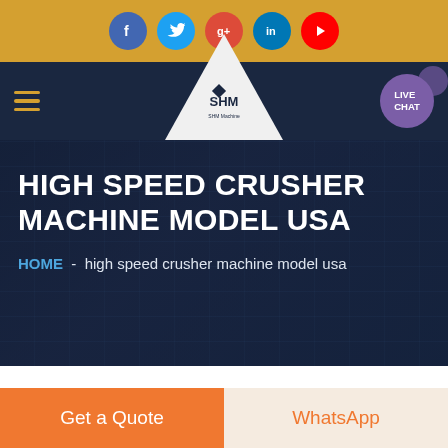[Figure (screenshot): Social media icons bar with Facebook, Twitter, Google+, LinkedIn, YouTube icons on golden/amber background]
[Figure (screenshot): Navigation bar with hamburger menu, SHM logo in triangular white badge, and LIVE CHAT button]
HIGH SPEED CRUSHER MACHINE MODEL USA
HOME  -  high speed crusher machine model usa
[Figure (photo): Partial industrial machinery photo visible at bottom]
Get a Quote
WhatsApp